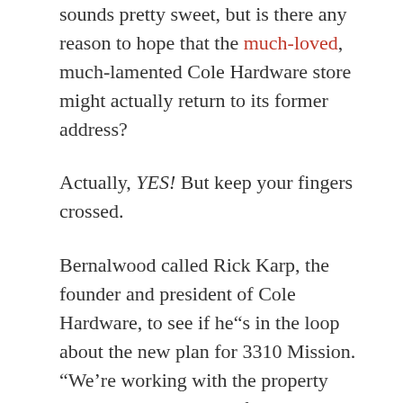sounds pretty sweet, but is there any reason to hope that the much-loved, much-lamented Cole Hardware store might actually return to its former address?
Actually, YES! But keep your fingers crossed.
Bernalwood called Rick Karp, the founder and president of Cole Hardware, to see if he’s in the loop about the new plan for 3310 Mission. “We’re working with the property owner on the planning for the building to use the ground floor space a location for a Cole Hardware store,” Karp said, adding.  “If everything works out, we’d love to move back.”
More housing, and a resurrected Cole Hardware?  Build it!